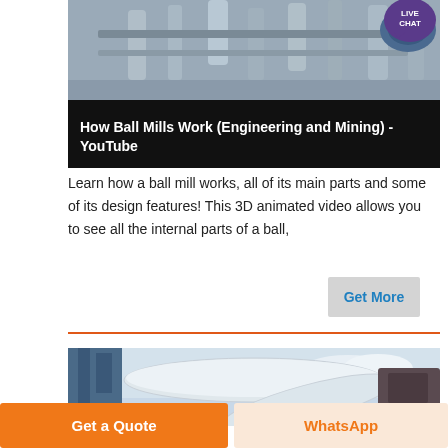[Figure (screenshot): YouTube video thumbnail showing industrial ball mill machinery with dark overlay and video title 'How Ball Mills Work (Engineering and Mining) - YouTube', with a live chat bubble in the top right corner]
Learn how a ball mill works, all of its main parts and some of its design features! This 3D animated video allows you to see all the internal parts of a ball,
[Figure (other): Get More button (grey background, blue text)]
[Figure (photo): Photograph of industrial white pipes and blue structural elements against a cloudy sky]
[Figure (other): Bottom navigation buttons: orange 'Get a Quote' button and light orange 'WhatsApp' button]